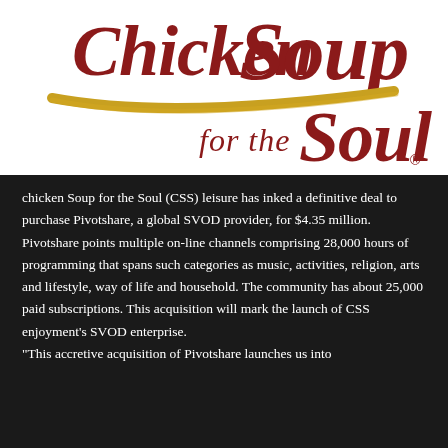[Figure (logo): Chicken Soup for the Soul logo — red cursive text 'Chicken Soup' on top, gold swoosh underline, red text 'for the Soul' below with registered trademark symbol, white background]
chicken Soup for the Soul (CSS) leisure has inked a definitive deal to purchase Pivotshare, a global SVOD provider, for $4.35 million. Pivotshare points multiple on-line channels comprising 28,000 hours of programming that spans such categories as music, activities, religion, arts and lifestyle, way of life and household. The community has about 25,000 paid subscriptions. This acquisition will mark the launch of CSS enjoyment's SVOD enterprise. "This accretive acquisition of Pivotshare launches us into